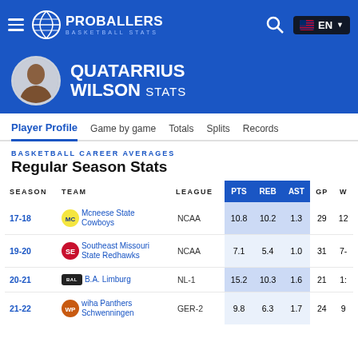PROBALLERS BASKETBALL STATS
QUATARRIUS WILSON STATS
BASKETBALL CAREER AVERAGES - Regular Season Stats
| SEASON | TEAM | LEAGUE | PTS | REB | AST | GP | W |
| --- | --- | --- | --- | --- | --- | --- | --- |
| 17-18 | Mcneese State Cowboys | NCAA | 10.8 | 10.2 | 1.3 | 29 | 12 |
| 19-20 | Southeast Missouri State Redhawks | NCAA | 7.1 | 5.4 | 1.0 | 31 | 7- |
| 20-21 | B.A. Limburg | NL-1 | 15.2 | 10.3 | 1.6 | 21 | 1: |
| 21-22 | wiha Panthers Schwenningen | GER-2 | 9.8 | 6.3 | 1.7 | 24 | 9 |